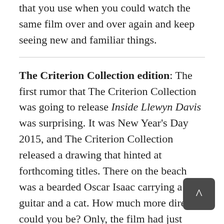that you use when you could watch the same film over and over again and keep seeing new and familiar things.
The Criterion Collection edition: The first rumor that The Criterion Collection was going to release Inside Llewyn Davis was surprising. It was New Year's Day 2015, and The Criterion Collection released a drawing that hinted at forthcoming titles. There on the beach was a bearded Oscar Isaac carrying a guitar and a cat. How much more direct could you be? Only, the film had just gotten a Blu-ray release. Furthermore, this would be the first Coen Brothers film to get into the Criterion Collection, despite rumors that Barton Fink was coming. I, for one, was thrilled. I love this film, though I also wondered just what The Criterion Collection might do to make their edition stand out. Well, they stacked the release with many excellent